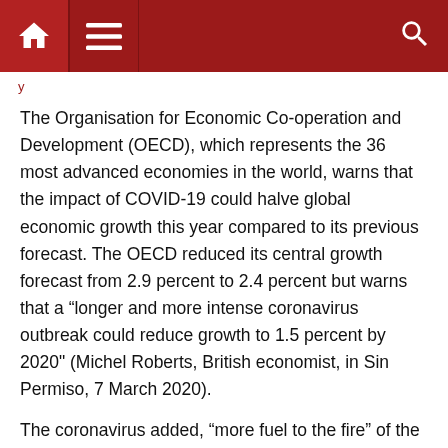Navigation bar with home, menu, and search icons
The Organisation for Economic Co-operation and Development (OECD), which represents the 36 most advanced economies in the world, warns that the impact of COVID-19 could halve global economic growth this year compared to its previous forecast. The OECD reduced its central growth forecast from 2.9 percent to 2.4 percent but warns that a “longer and more intense coronavirus outbreak could reduce growth to 1.5 percent by 2020" (Michel Roberts, British economist, in Sin Permiso, 7 March 2020).
The coronavirus added, “more fuel to the fire” of the capitalist economic crisis. The coronavirus emerged in China (see “China: Coronavirus and Dictatorship.” www.uit-ci.org/fb: iwu-fi uk). China is the world’s